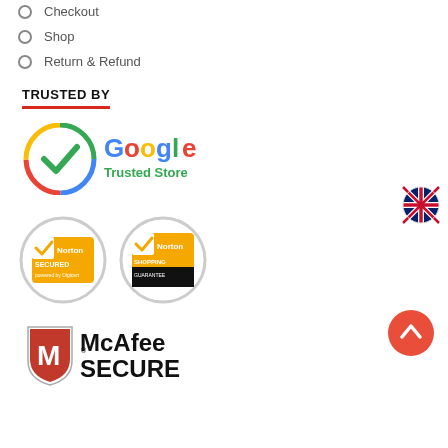Checkout
Shop
Return & Refund
TRUSTED BY
[Figure (logo): Google Trusted Store logo with colored checkmark circle and Google wordmark]
[Figure (logo): Norton Secured powered by Digicert badge in circular frame]
[Figure (logo): Norton Shopping Guarantee badge in circular frame]
[Figure (logo): McAfee SECURE logo with red shield]
[Figure (logo): UK flag circle icon]
[Figure (other): Orange circular back-to-top arrow button]